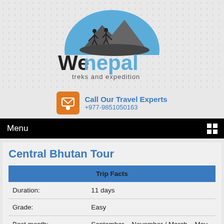[Figure (logo): WeNepal treks and expedition logo with mountain silhouette and hikers against blue semicircle]
Call Our Travel Experts +977-9851050163
Menu
Central Bhutan Tour
| Trip Facts |
| --- |
| Duration: | 11 days |
| Grade: | Easy |
| Best month: | September – November / March – May |
| Accommodation | Hotel |
| Transportation: | Car / Van / Plane |